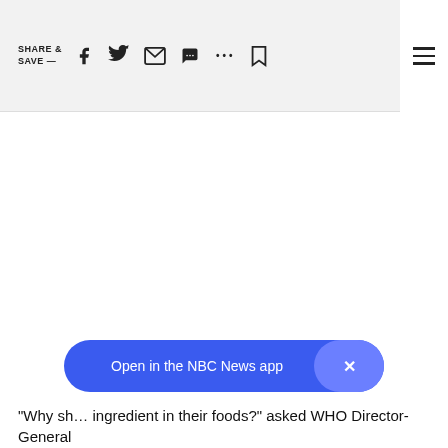SHARE & SAVE —
[Figure (screenshot): Large empty white content area, likely an image or video placeholder]
"Why sh… ingredient in their foods?" asked WHO Director-General
[Figure (infographic): Blue pill-shaped banner reading 'Open in the NBC News app' with an X close button on the right]